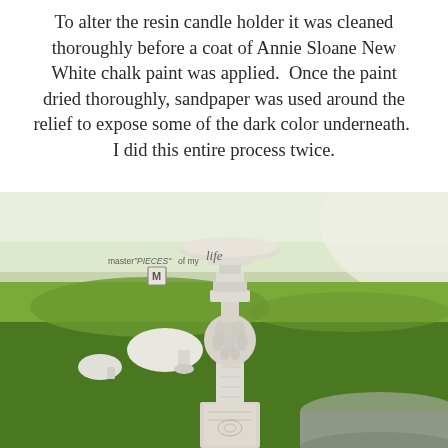To alter the resin candle holder it was cleaned thoroughly before a coat of Annie Sloane New White chalk paint was applied.  Once the paint dried thoroughly, sandpaper was used around the relief to expose some of the dark color underneath.  I did this entire process twice.
[Figure (photo): A white chalk-painted ornate resin candle holder with decorative relief, painted in Annie Sloane New White, placed outdoors in a garden setting with bright green grass and white decorative mushroom accents in the background. A watermark logo reading 'master PIECES of my life' with an M logo is visible in the upper left of the photo.]